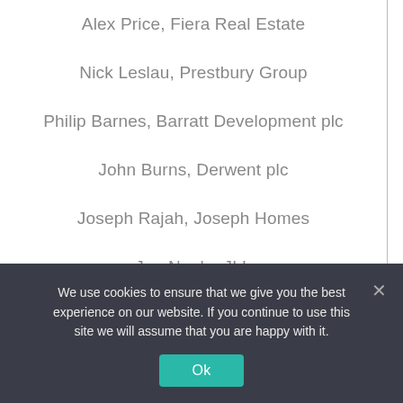Alex Price, Fiera Real Estate
Nick Leslau, Prestbury Group
Philip Barnes, Barratt Development plc
John Burns, Derwent plc
Joseph Rajah, Joseph Homes
Jon Neale, JLL
Daniel Priestley, Dent Global
Simon Rubinsohn, RICS
We use cookies to ensure that we give you the best experience on our website. If you continue to use this site we will assume that you are happy with it.